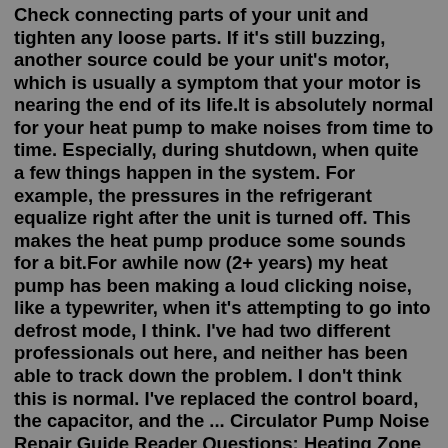Check connecting parts of your unit and tighten any loose parts. If it's still buzzing, another source could be your unit's motor, which is usually a symptom that your motor is nearing the end of its life.It is absolutely normal for your heat pump to make noises from time to time. Especially, during shutdown, when quite a few things happen in the system. For example, the pressures in the refrigerant equalize right after the unit is turned off. This makes the heat pump produce some sounds for a bit.For awhile now (2+ years) my heat pump has been making a loud clicking noise, like a typewriter, when it's attempting to go into defrost mode, I think. I've had two different professionals out here, and neither has been able to track down the problem. I don't think this is normal. I've replaced the control board, the capacitor, and the ... Circulator Pump Noise Repair Guide Reader Questions: Heating Zone Circulator Pump Noises, heating system noises, or noises when heat is turned off Humming at the boiler (Oct 13, 2012) zena123 said: Help, please !